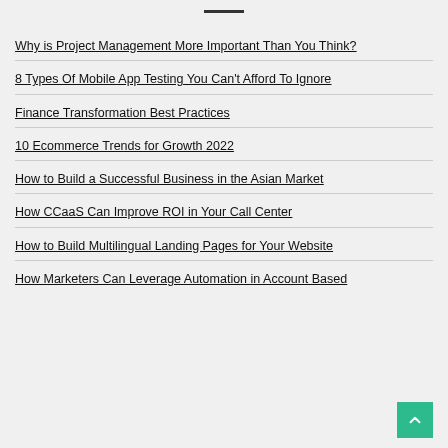Why is Project Management More Important Than You Think?
8 Types Of Mobile App Testing You Can't Afford To Ignore
Finance Transformation Best Practices
10 Ecommerce Trends for Growth 2022
How to Build a Successful Business in the Asian Market
How CCaaS Can Improve ROI in Your Call Center
How to Build Multilingual Landing Pages for Your Website
How Marketers Can Leverage Automation in Account Based Marketing